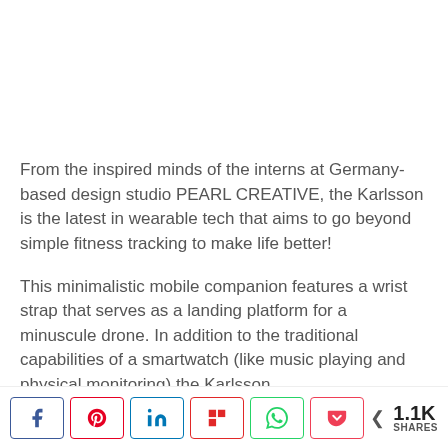From the inspired minds of the interns at Germany-based design studio PEARL CREATIVE, the Karlsson is the latest in wearable tech that aims to go beyond simple fitness tracking to make life better!
This minimalistic mobile companion features a wrist strap that serves as a landing platform for a minuscule drone. In addition to the traditional capabilities of a smartwatch (like music playing and physical monitoring) the Karlsson also…